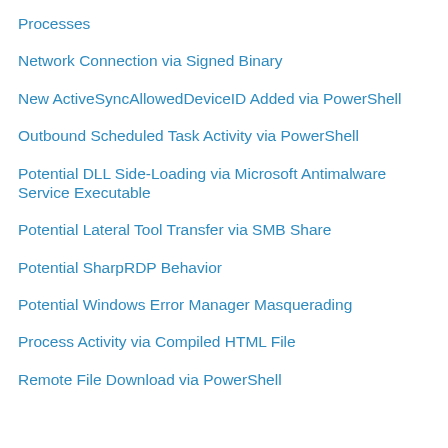Processes
Network Connection via Signed Binary
New ActiveSyncAllowedDeviceID Added via PowerShell
Outbound Scheduled Task Activity via PowerShell
Potential DLL Side-Loading via Microsoft Antimalware Service Executable
Potential Lateral Tool Transfer via SMB Share
Potential SharpRDP Behavior
Potential Windows Error Manager Masquerading
Process Activity via Compiled HTML File
Remote File Download via PowerShell